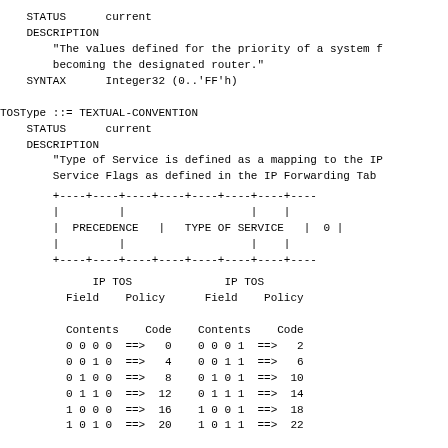STATUS      current
    DESCRIPTION
        "The values defined for the priority of a system f
        becoming the designated router."
    SYNTAX      Integer32 (0..'FF'h)

TOSType ::= TEXTUAL-CONVENTION
    STATUS      current
    DESCRIPTION
        "Type of Service is defined as a mapping to the IP
        Service Flags as defined in the IP Forwarding Tab
[Figure (other): ASCII art diagram showing IP TOS field structure with PRECEDENCE, TYPE OF SERVICE, and 0 columns]
IP TOS              IP TOS
        Field    Policy      Field    Policy

        Contents    Code    Contents    Code
        0 0 0 0  ==>   0    0 0 0 1  ==>   2
        0 0 1 0  ==>   4    0 0 1 1  ==>   6
        0 1 0 0  ==>   8    0 1 0 1  ==>  10
        0 1 1 0  ==>  12    0 1 1 1  ==>  14
        1 0 0 0  ==>  16    1 0 0 1  ==>  18
        1 0 1 0  ==>  20    1 0 1 1  ==>  22